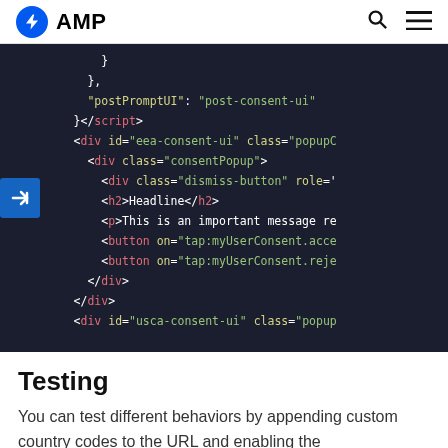AMP
[Figure (screenshot): Code snippet showing HTML/JSON for AMP consent UI with dark background, including postPromptUI, script close tag, div elements for eea-consent-ui and usca-consent-ui with classes, h2 Headline, p tag, and button elements with tap:myUserConsent actions]
Testing
You can test different behaviors by appending custom country codes to the URL and enabling the